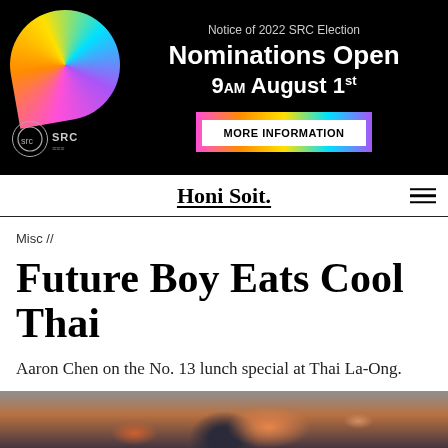[Figure (illustration): Advertisement banner for 2022 SRC Election with black background, colorful speech bubble graphic, SRC logo, and text about nominations opening 9am August 1st with a MORE INFORMATION button]
Honi Soit.
Misc //
Future Boy Eats Cool Thai
Aaron Chen on the No. 13 lunch special at Thai La-Ong.
[Figure (photo): Food photograph showing Thai dish, appears to be a stir fry or similar dish in a dark pan/wok]